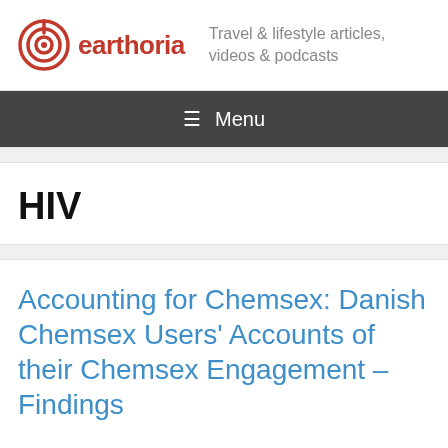[Figure (logo): Earthoria logo with circular antenna icon in dark red/orange and text 'earthoria' in red, with tagline 'Travel & lifestyle articles, videos & podcasts']
≡ Menu
HIV
Accounting for Chemsex: Danish Chemsex Users' Accounts of their Chemsex Engagement – Findings